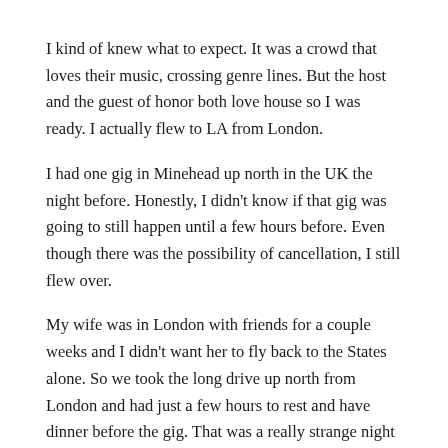I kind of knew what to expect. It was a crowd that loves their music, crossing genre lines. But the host and the guest of honor both love house so I was ready. I actually flew to LA from London.
I had one gig in Minehead up north in the UK the night before. Honestly, I didn't know if that gig was going to still happen until a few hours before. Even though there was the possibility of cancellation, I still flew over.
My wife was in London with friends for a couple weeks and I didn't want her to fly back to the States alone. So we took the long drive up north from London and had just a few hours to rest and have dinner before the gig. That was a really strange night as there was just a lot of uncertainty in the air. Joey Negro was scheduled to come on after me, so I called him and he didn't have any different information. We both planned to just show up and play. It was supposed to be a weekend-long event but in light of everything going on, a lot of people had left the festival grounds already.
The crowd was fairly small in the tent area and the set I could hear…